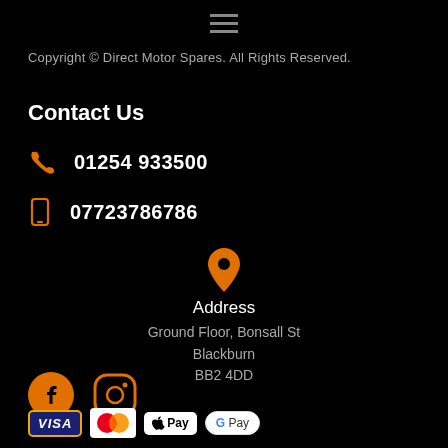[Figure (other): Hamburger menu icon (three horizontal lines)]
Copyright © Direct Motor Spares. All Rights Reserved.
Contact Us
📞 01254 933500
📱 07723786786
[Figure (other): Orange map pin / location icon]
Address
Ground Floor, Bonsall St
Blackburn
BB2 4DD
[Figure (other): Social media icons: Facebook (orange circle with F) and Instagram (orange outline)]
[Figure (other): Payment method badges: VISA, Mastercard, Apple Pay, Google Pay]